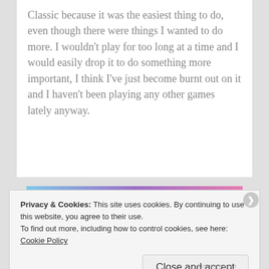Classic because it was the easiest thing to do, even though there were things I wanted to do more. I wouldn't play for too long at a time and I would easily drop it to do something more important, I think I've just become burnt out on it and I haven't been playing any other games lately anyway.
[Figure (other): WordPress.com advertisement banner with gradient background (blue to pink/purple). Text reads 'simplified pricing for everything you need.' with WordPress.com logo.]
Privacy & Cookies: This site uses cookies. By continuing to use this website, you agree to their use. To find out more, including how to control cookies, see here: Cookie Policy
Close and accept